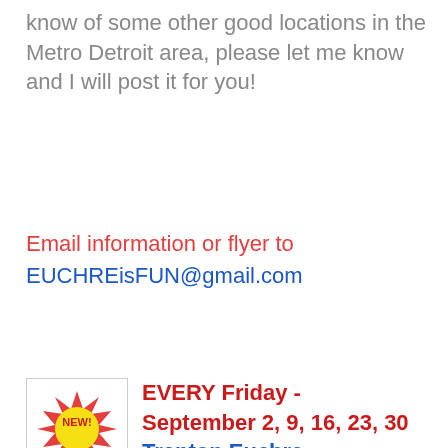know of some other good locations in the Metro Detroit area, please let me know and I will post it for you!
Email information or flyer to EUCHREisFUN@gmail.com
[Figure (illustration): Red and yellow starburst 'NEW!' badge icon]
EVERY Friday - September 2, 9, 16, 23, 30 Trenton Euchre Tournament
Location: 10 Pins of Trenton 2591 Fort Street, Trenton, MI  48183   MAP Time: 7:00pm Play starts (Check-in begins at 6:15pm)